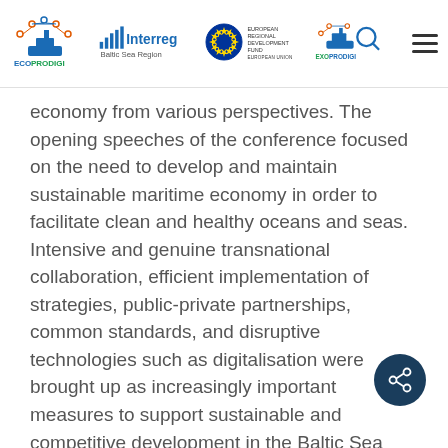ECOPRODIGI | Interreg Baltic Sea Region | European Union European Regional Development Fund | EXOPRODIGI
economy from various perspectives. The opening speeches of the conference focused on the need to develop and maintain sustainable maritime economy in order to facilitate clean and healthy oceans and seas. Intensive and genuine transnational collaboration, efficient implementation of strategies, public-private partnerships, common standards, and disruptive technologies such as digitalisation were brought up as increasingly important measures to support sustainable and competitive development in the Baltic Sea region. With this in mind, the role of the over 20